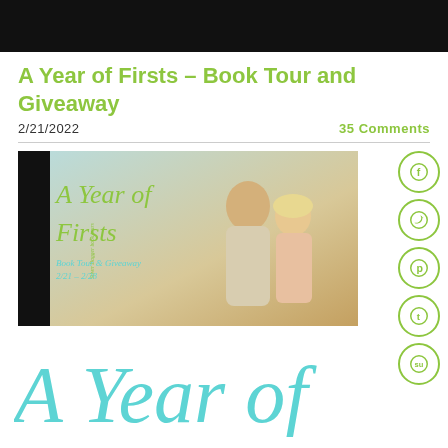A Year of Firsts – Book Tour and Giveaway
2/21/2022
35 Comments
[Figure (illustration): Book tour banner for 'A Year of Firsts' showing a couple smiling together with teal script title text and event dates 2/21 - 2/28, with a dark sidebar labeled 'Silver Dagger book tours']
[Figure (illustration): Large teal script text reading 'A Year of' partially visible at bottom of page]
[Figure (other): Social media icon buttons: Facebook, Twitter, Pinterest, Tumblr, StumbleUpon — green circle outlines on right side]